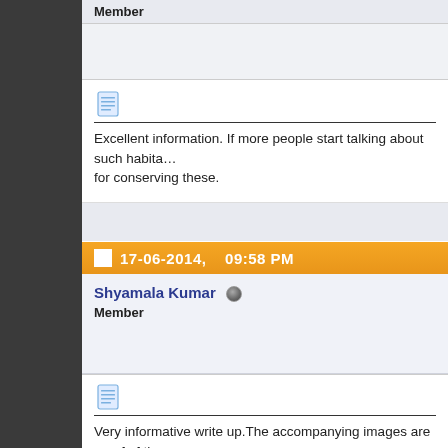Member
Excellent information. If more people start talking about such habita… for conserving these.
17-06-2014,   09:58 PM
Shyamala Kumar
Member
Very informative write up.The accompanying images are proof of th… in and around Bhopal.This would encourage other states towards o… own resources .Thanks for sharingt